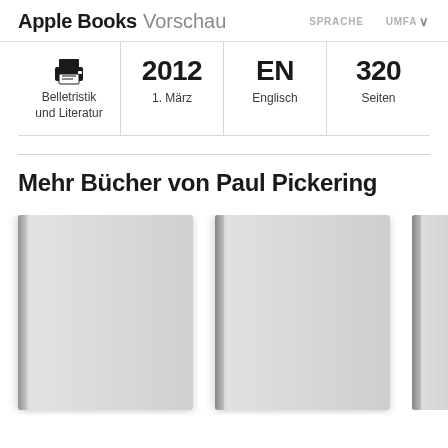Apple Books Vorschau
| Kategorie | Datum | Sprache | Umfang |
| --- | --- | --- | --- |
| Belletristik und Literatur | 2012
1. März | EN
Englisch | 320
Seiten |
Mehr Bücher von Paul Pickering
[Figure (illustration): Three book covers shown as gray placeholder covers in a horizontal row, partially cropped at bottom of page]